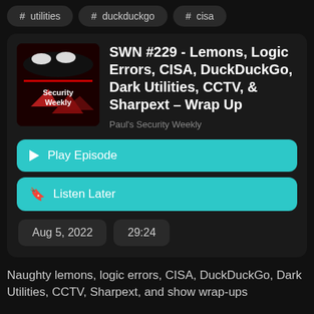# utilities
# duckduckgo
# cisa
SWN #229 - Lemons, Logic Errors, CISA, DuckDuckGo, Dark Utilities, CCTV, & Sharpext – Wrap Up
Paul's Security Weekly
Play Episode
Listen Later
Aug 5, 2022
29:24
Naughty lemons, logic errors, CISA, DuckDuckGo, Dark Utilities, CCTV, Sharpext, and show wrap-ups